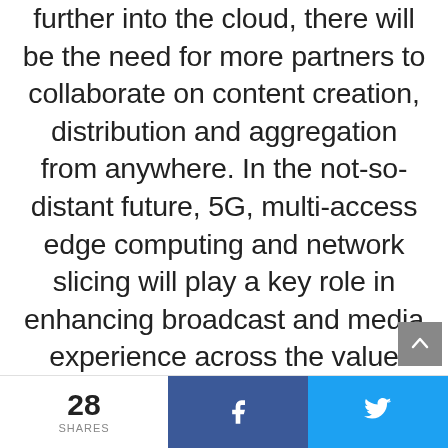As the media industry moves further into the cloud, there will be the need for more partners to collaborate on content creation, distribution and aggregation from anywhere. In the not-so-distant future, 5G, multi-access edge computing and network slicing will play a key role in enhancing broadcast and media experience across the value chain.
28 SHARES | Facebook share | Twitter share